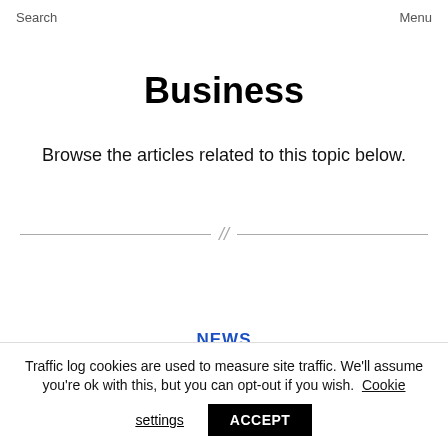Search    Menu
Business
Browse the articles related to this topic below.
[Figure (other): Decorative horizontal divider with double-slash symbol in center]
NEWS
Traffic log cookies are used to measure site traffic. We'll assume you're ok with this, but you can opt-out if you wish. Cookie settings  ACCEPT